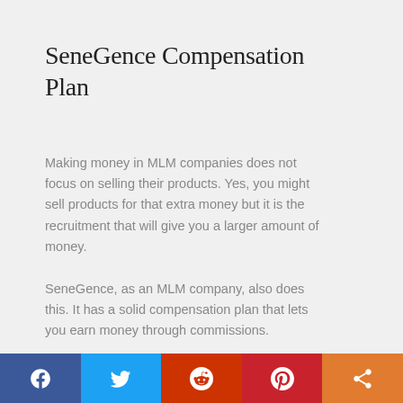SeneGence Compensation Plan
Making money in MLM companies does not focus on selling their products. Yes, you might sell products for that extra money but it is the recruitment that will give you a larger amount of money.
SeneGence, as an MLM company, also does this. It has a solid compensation plan that lets you earn money through commissions.
SeneGence allows you to earn money in
Social share bar: Facebook, Twitter, Reddit, Pinterest, Share